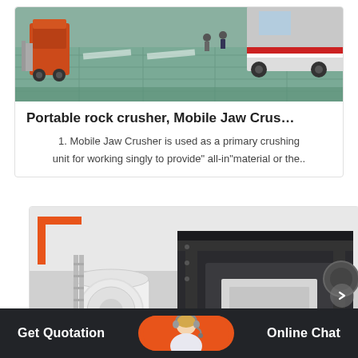[Figure (photo): Aerial view of industrial yard with forklifts and trucks on tiled/painted pavement]
Portable rock crusher, Mobile Jaw Crus…
1. Mobile Jaw Crusher is used as a primary crushing unit for working singly to provide" all-in"material or the..
[Figure (photo): Industrial crusher machine (mobile jaw crusher) with heavy dark metal frame structure, white machinery components visible on left side]
Get Quotation   Online Chat